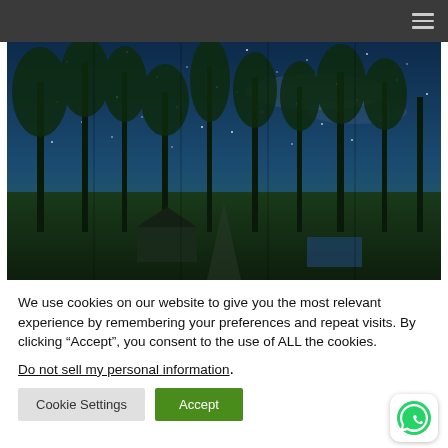Navigation bar with hamburger menu
[Figure (photo): Night sky photo with tall pine trees and starry blue sky, camping tent and cabin visible at bottom]
We use cookies on our website to give you the most relevant experience by remembering your preferences and repeat visits. By clicking “Accept”, you consent to the use of ALL the cookies.
Do not sell my personal information.
Cookie Settings | Accept